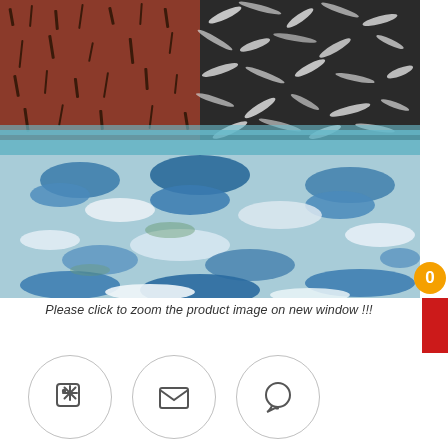[Figure (photo): Abstract painting with textured brushstrokes — upper-left quadrant is reddish-brown with black marks, upper-right is black and white streaks, lower portion is dominated by blues, teals and whites with heavy impasto texture]
Please click to zoom the product image on new window !!!
[Figure (infographic): Three circular icon buttons in a row: first has a price-tag/asterisk icon, second has an envelope/email icon, third has a WhatsApp/chat bubble icon]